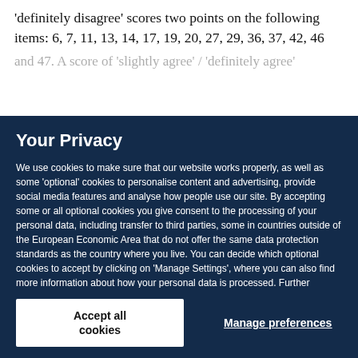'definitely disagree' scores two points on the following items: 6, 7, 11, 13, 14, 17, 19, 20, 27, 29, 36, 37, 42, 46 and 47. A score of 'slightly agree' / 'definitely agree'
Your Privacy
We use cookies to make sure that our website works properly, as well as some 'optional' cookies to personalise content and advertising, provide social media features and analyse how people use our site. By accepting some or all optional cookies you give consent to the processing of your personal data, including transfer to third parties, some in countries outside of the European Economic Area that do not offer the same data protection standards as the country where you live. You can decide which optional cookies to accept by clicking on 'Manage Settings', where you can also find more information about how your personal data is processed. Further information can be found in our privacy policy.
Accept all cookies
Manage preferences